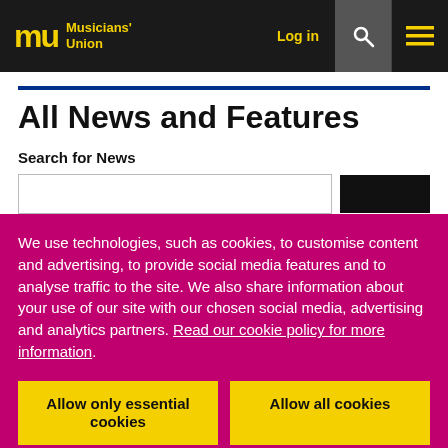Musicians' Union | Log in
All News and Features
Search for News
We use technologies, such as cookies, to customise content and advertising, to provide social media features and to analyse traffic to the site. We also share information about your use of our site with our chosen social media, advertising and analytics partners. Read our cookie policy for more information.
Allow only essential cookies
Allow all cookies